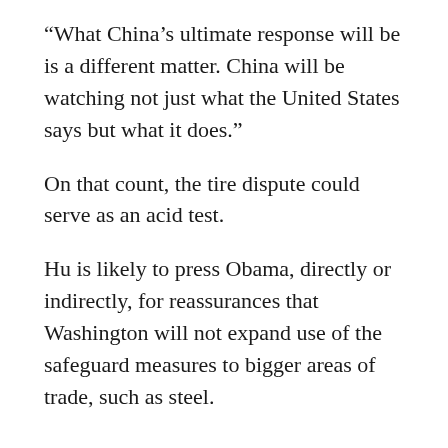“What China’s ultimate response will be is a different matter. China will be watching not just what the United States says but what it does.”
On that count, the tire dispute could serve as an acid test.
Hu is likely to press Obama, directly or indirectly, for reassurances that Washington will not expand use of the safeguard measures to bigger areas of trade, such as steel.
“China was surprised by Obama’s announcement, but it sees the domestic political considerations for him,” Wang said.